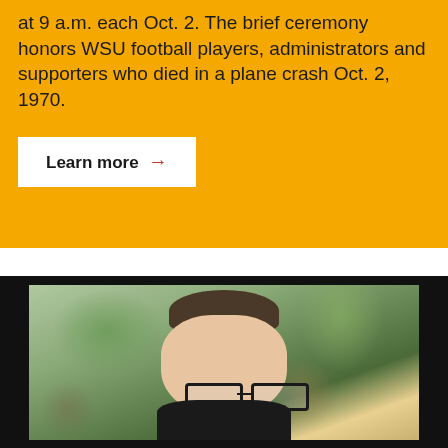at 9 a.m. each Oct. 2. The brief ceremony honors WSU football players, administrators and supporters who died in a plane crash Oct. 2, 1970.
Learn more →
[Figure (photo): Portrait photo of a man with short dark hair, wearing glasses and a dark shirt, photographed outdoors with blurred green foliage in the background.]